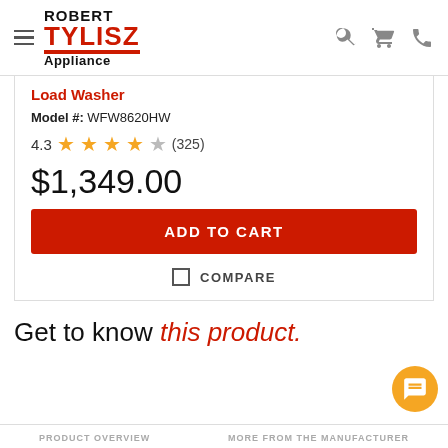Robert Tylisz Appliance
Load Washer
Model #: WFW8620HW
4.3 ★★★★☆ (325)
$1,349.00
ADD TO CART
COMPARE
Get to know this product.
PRODUCT OVERVIEW   MORE FROM THE MANUFACTURER